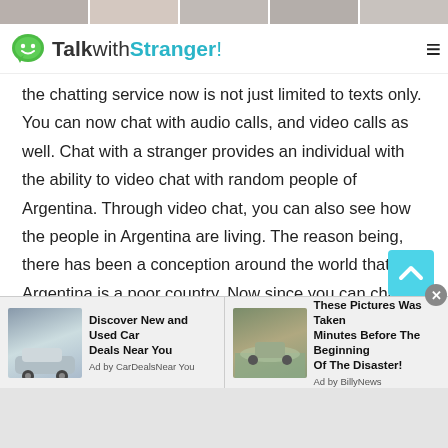[Figure (other): Top strip of thumbnail portrait/profile images]
TalkwithStranger!
the chatting service now is not just limited to texts only. You can now chat with audio calls, and video calls as well. Chat with a stranger provides an individual with the ability to video chat with random people of Argentina. Through video chat, you can also see how the people in Argentina are living. The reason being, there has been a conception around the world that Argentina is a poor country. Now since you can chat with people of Argentina these things can also be solved easily. Apart from that, it also enables people to make audio calls. The feature
[Figure (other): Advertisement: Discover New and Used Car Deals Near You - Ad by CarDealsNearYou]
[Figure (other): Advertisement: These Pictures Was Taken Minutes Before The Beginning Of The Disaster! - Ad by BillyNews]